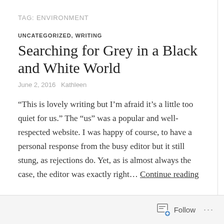TAG: ENVIRONMENT
UNCATEGORIZED, WRITING
Searching for Grey in a Black and White World
June 2, 2016   Kathleen
“This is lovely writing but I’m afraid it’s a little too quiet for us.” The “us” was a popular and well-respected website. I was happy of course, to have a personal response from the busy editor but it still stung, as rejections do. Yet, as is almost always the case, the editor was exactly right… Continue reading
Follow ...